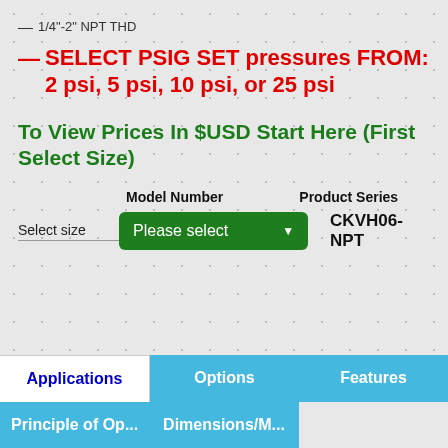— 1/4"-2" NPT THD
SELECT PSIG SET pressures FROM: 2 psi, 5 psi, 10 psi, or 25 psi
To View Prices In $USD Start Here (First Select Size)
|  | Model Number | Product Series |
| --- | --- | --- |
| Select size | Please select | CKVH06-NPT |
Applications
Options
Features
Principle of Op...
Dimensions/M...